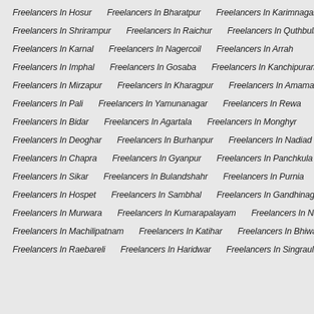Freelancers In Hosur
Freelancers In Bharatpur
Freelancers In Karimnagar
Freelancers In Shrirampur
Freelancers In Raichur
Freelancers In Quthbullapur
Freelancers In Karnal
Freelancers In Nagercoil
Freelancers In Arrah
Freelancers In Imphal
Freelancers In Gosaba
Freelancers In Kanchipuram
Freelancers In Mirzapur
Freelancers In Kharagpur
Freelancers In Amamath
Freelancers In Pali
Freelancers In Yamunanagar
Freelancers In Rewa
Freelancers In Bidar
Freelancers In Agartala
Freelancers In Monghyr
Freelancers In Deoghar
Freelancers In Burhanpur
Freelancers In Nadiad
Freelancers In Chapra
Freelancers In Gyanpur
Freelancers In Panchkula
Freelancers In Sikar
Freelancers In Bulandshahr
Freelancers In Purnia
Freelancers In Hospet
Freelancers In Sambhal
Freelancers In Gandhinagar
Freelancers In Murwara
Freelancers In Kumarapalayam
Freelancers In Nangloi Jat
Freelancers In Machilipatnam
Freelancers In Katihar
Freelancers In Bhiwani
Freelancers In Raebareli
Freelancers In Haridwar
Freelancers In Singrauli